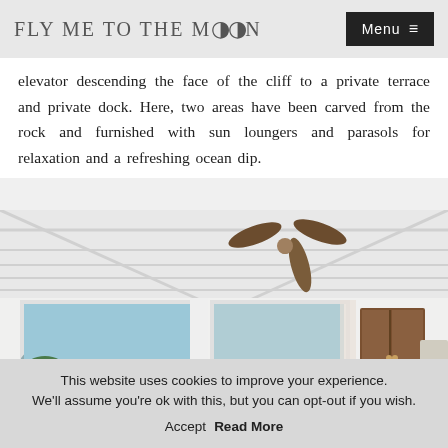FLY ME TO THE MOON  Menu
elevator descending the face of the cliff to a private terrace and private dock. Here, two areas have been carved from the rock and furnished with sun loungers and parasols for relaxation and a refreshing ocean dip.
[Figure (photo): Interior of a luxury villa room with white vaulted ceiling with exposed beams, a ceiling fan with dark wooden blades, large glass sliding doors opening to an ocean view, a grand piano visible in the background, and a wooden wardrobe on the right]
This website uses cookies to improve your experience. We'll assume you're ok with this, but you can opt-out if you wish.  Accept  Read More